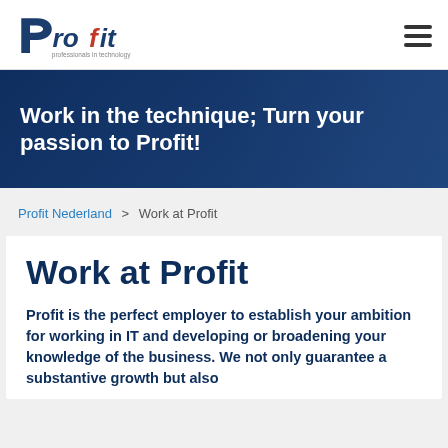Profit professionals in technology — navigation header with hamburger menu
Work in the technique; Turn your passion to Profit!
Profit Nederland > Work at Profit
Work at Profit
Profit is the perfect employer to establish your ambition for working in IT and developing or broadening your knowledge of the business. We not only guarantee a substantive growth but also